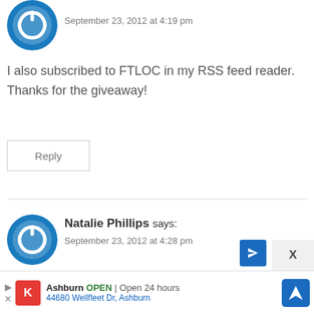[Figure (illustration): Circular blue power button icon avatar for user]
September 23, 2012 at 4:19 pm
I also subscribed to FTLOC in my RSS feed reader. Thanks for the giveaway!
Reply
[Figure (illustration): Circular blue power button icon avatar for Natalie Phillips]
Natalie Phillips says:
September 23, 2012 at 4:28 pm
I would make a mango pineapple smoothie!
Reply
Ashburn OPEN | Open 24 hours 44680 Wellfleet Dr, Ashburn